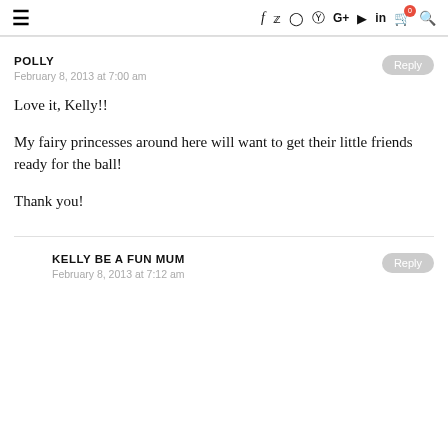≡  f  🐦  ○  ⊕  G+  ▶  in  🛒0  🔍
POLLY
February 8, 2013 at 7:00 am

Love it, Kelly!!

My fairy princesses around here will want to get their little friends ready for the ball!

Thank you!
KELLY BE A FUN MUM
February 8, 2013 at 7:12 am